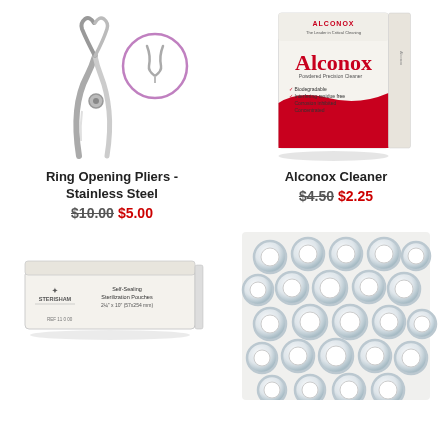[Figure (photo): Ring Opening Pliers - Stainless Steel product image with close-up circle inset]
Ring Opening Pliers - Stainless Steel
$10.00 $5.00
[Figure (photo): Alconox Powdered Precision Cleaner box photo]
Alconox Cleaner
$4.50 $2.25
[Figure (photo): Self-sealing sterilization pouches box]
[Figure (photo): Multiple clear glass/plastic rings arranged in a grid]